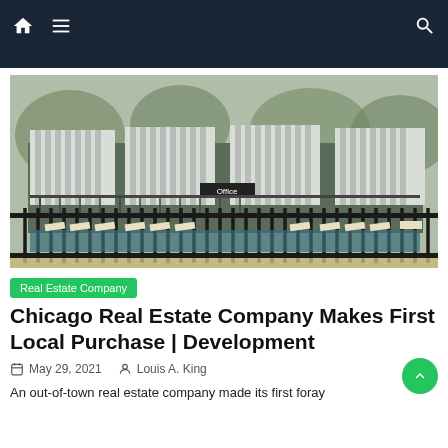Navigation bar with home, menu, and search icons
[Figure (photo): Exterior photo of an apartment complex with white metal awnings over balconies, a pool area with lounge chairs, black iron fence in the foreground, trees in background, and an 'Office' sign visible]
Real Estate Company
Chicago Real Estate Company Makes First Local Purchase | Development
May 29, 2021   Louis A. King
An out-of-town real estate company made its first foray